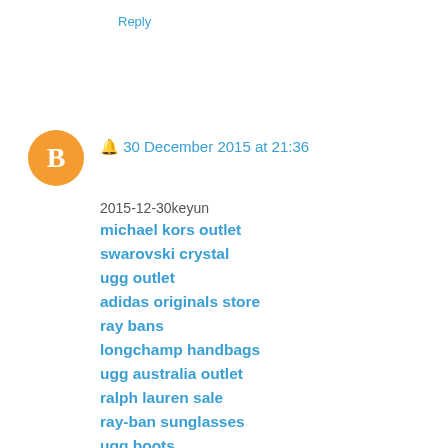Reply
🔔 30 December 2015 at 21:36
2015-12-30keyun
michael kors outlet
swarovski crystal
ugg outlet
adidas originals store
ray bans
longchamp handbags
ugg australia outlet
ralph lauren sale
ray-ban sunglasses
ugg boots
coach outlet
louis vuitton purses
abercrombie & fitch
uggs on sale
louis vuitton outlet stores
burberry sale
gucci handbags